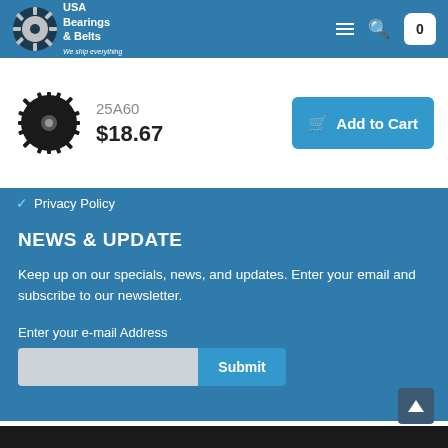[Figure (logo): USA Bearings & Belts logo with gear/bearing imagery]
25A60
$18.67
Add to Cart
Privacy Policy
NEWS & UPDATE
Keep up on our specials, news, and updates. Enter your email and subscribe to our newsletter.
Enter your e-mail Address
Submit